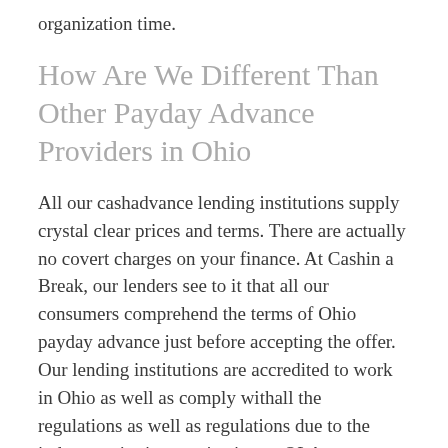organization time.
How Are We Different Than Other Payday Advance Providers in Ohio
All our cashadvance lending institutions supply crystal clear prices and terms. There are actually no covert charges on your finance. At Cashin a Break, our lenders see to it that all our consumers comprehend the terms of Ohio payday advance just before accepting the offer. Our lending institutions are accredited to work in Ohio as well as comply withall the regulations as well as regulations due to the industry criteria organization &ndash;- OLA.
Our indian tribal loans for bad credit request application is entirely protected, plus all your